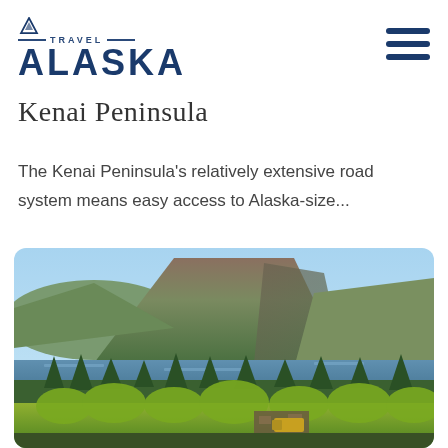[Figure (logo): Travel Alaska logo with mountain icon, horizontal lines, TRAVEL text and ALASKA in bold]
Kenai Peninsula
The Kenai Peninsula's relatively extensive road system means easy access to Alaska-size...
[Figure (photo): Landscape photo of Kenai Peninsula showing a large mountain with green slopes, a blue lake or inlet, dense forest of evergreen trees, and a building partially visible among the trees under a clear blue sky]